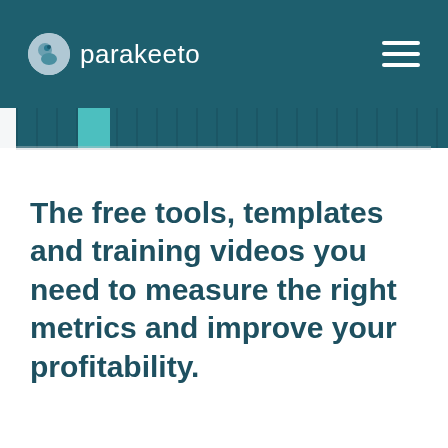parakeeto
[Figure (infographic): Decorative bar with dark teal background and vertical stripe pattern, with a teal green highlighted segment]
The free tools, templates and training videos you need to measure the right metrics and improve your profitability.